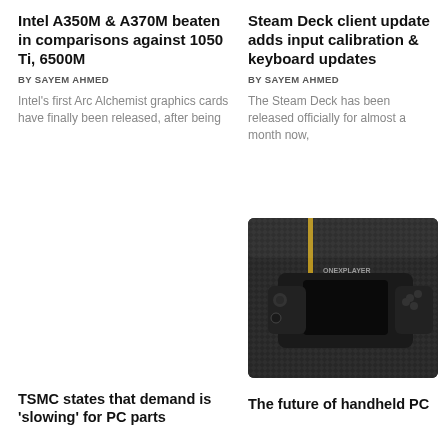Intel A350M & A370M beaten in comparisons against 1050 Ti, 6500M
BY SAYEM AHMED
Intel's first Arc Alchemist graphics cards have finally been released, after being
Steam Deck client update adds input calibration & keyboard updates
BY SAYEM AHMED
The Steam Deck has been released officially for almost a month now,
[Figure (photo): Photo of a OneXPlayer handheld gaming PC with controllers on a carbon fiber surface, featuring a gold accent stripe]
TSMC states that demand is 'slowing' for PC parts
The future of handheld PC